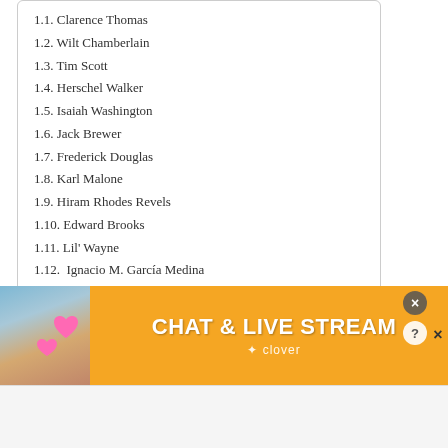1.1. Clarence Thomas
1.2. Wilt Chamberlain
1.3. Tim Scott
1.4. Herschel Walker
1.5. Isaiah Washington
1.6. Jack Brewer
1.7. Frederick Douglas
1.8. Karl Malone
1.9. Hiram Rhodes Revels
1.10. Edward Brooks
1.11. Lil' Wayne
1.12.  Ignacio M. García Medina
1.13.  Daniel Chang
Available: Español
[Figure (infographic): Advertisement banner for Clover chat and live stream app. Orange/yellow background with woman in red swimsuit on beach with pink hearts. Text reads CHAT & LIVE STREAM with Clover logo. Has close buttons (? and X) in top right corner.]